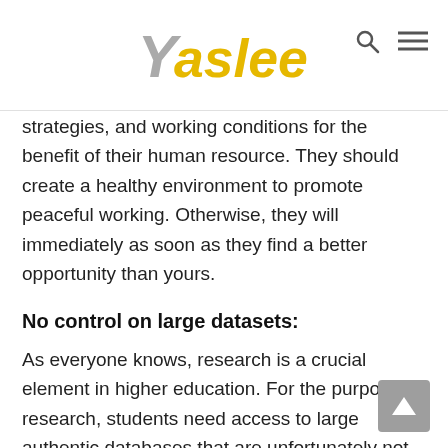Yaslee
strategies, and working conditions for the benefit of their human resource. They should create a healthy environment to promote peaceful working. Otherwise, they will immediately as soon as they find a better opportunity than yours.
No control on large datasets:
As everyone knows, research is a crucial element in higher education. For the purpose of research, students need access to large authentic databases that are unfortunately not controlled by the university authority. They usually do not